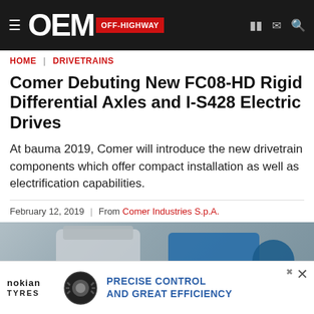OEM OFF-HIGHWAY
HOME | DRIVETRAINS
Comer Debuting New FC08-HD Rigid Differential Axles and I-S428 Electric Drives
At bauma 2019, Comer will introduce the new drivetrain components which offer compact installation as well as electrification capabilities.
February 12, 2019  |  From Comer Industries S.p.A.
[Figure (photo): Photo of Comer drivetrain components including differential axles and electric drives]
[Figure (infographic): Nokian Tyres advertisement banner: PRECISE CONTROL AND GREAT EFFICIENCY]